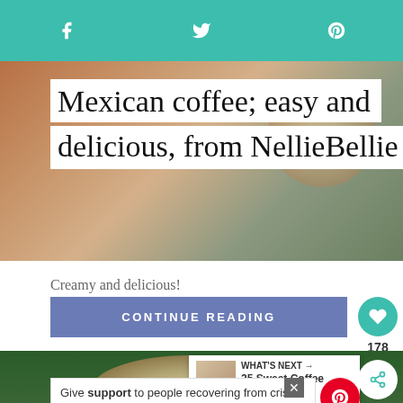Social share bar with Facebook, Twitter, Pinterest icons
[Figure (photo): Hero background photo of Mexican coffee drink with blurred coffee cup background]
Mexican coffee; easy and delicious, from NellieBellie
Creamy and delicious!
CONTINUE READING
[Figure (photo): Bottom half of page showing a bowl of food on dark green background, with Pinterest share overlay, what's next box showing '25 Sweet Coffee Treat...', and an advertisement banner reading 'Give support to people recovering from crisis. Make a year-end donation.']